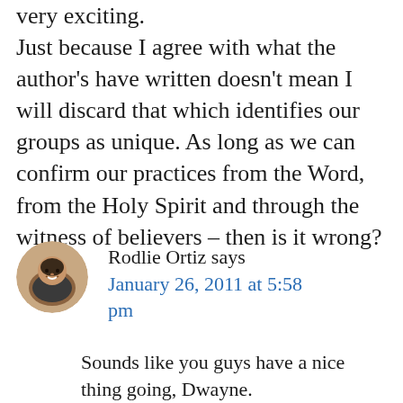very exciting.
Just because I agree with what the author's have written doesn't mean I will discard that which identifies our groups as unique. As long as we can confirm our practices from the Word, from the Holy Spirit and through the witness of believers – then is it wrong?
[Figure (photo): Circular avatar photo of Rodlie Ortiz, a smiling man.]
Rodlie Ortiz says
January 26, 2011 at 5:58 pm
Sounds like you guys have a nice thing going, Dwayne.